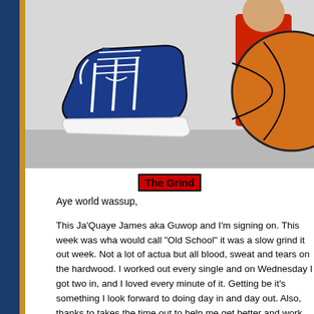[Figure (photo): Photo showing a blue/white sneaker (basketball shoe) and part of a basketball with a person in a red shirt in the background, framed with a dark border]
The Grind
Aye world wassup,
This Ja'Quaye James aka Guwop and I'm signing on. This week was wha would call "Old School" it was a slow grind it out week. Not a lot of actua but all blood, sweat and tears on the hardwood. I worked out every single and on Wednesday I got two in, and I loved every minute of it. Getting be it's something I look forward to doing day in and day out. Also, thanks to takes the time out to help me get better and work on my game. It means a Between working out and working on my game and practicing with the ol really have a lot of chill time, but that's cool. It will be worth it, at least fo
Playing up is one of the goals I set for myself this year and I'm glad to let moving up, I've went to a few practices and feel I will have a key role on th long as I stay focused and put the work in. The speed of the game on this than I expected but nothing, I don't feel I can't handle it right away. Our pr crazy and intensive. All month since the High School season ended we ha